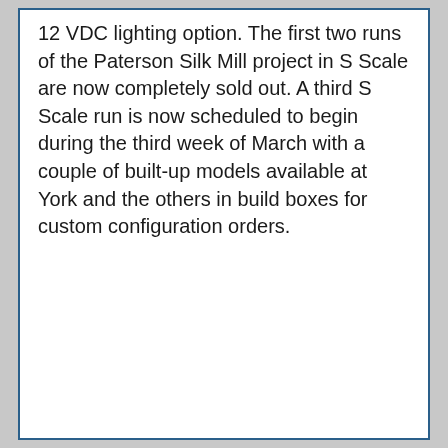12 VDC lighting option. The first two runs of the Paterson Silk Mill project in S Scale are now completely sold out. A third S Scale run is now scheduled to begin during the third week of March with a couple of built-up models available at York and the others in build boxes for custom configuration orders.